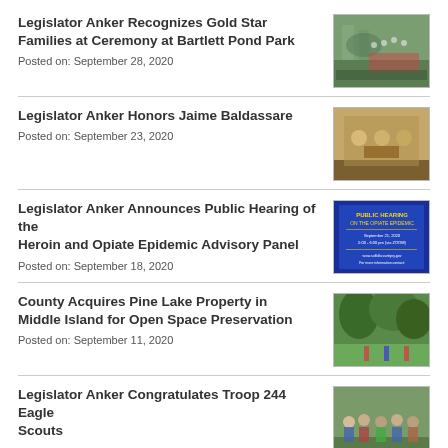Legislator Anker Recognizes Gold Star Families at Ceremony at Bartlett Pond Park
Posted on: September 28, 2020
[Figure (photo): Group of people at outdoor ceremony at Bartlett Pond Park]
Legislator Anker Honors Jaime Baldassare
Posted on: September 23, 2020
[Figure (photo): People posing indoors, possibly with an award or plaque]
Legislator Anker Announces Public Hearing of the Heroin and Opiate Epidemic Advisory Panel
Posted on: September 18, 2020
[Figure (photo): Blue flyer for Public Hearing on the Opiate Epidemic]
County Acquires Pine Lake Property in Middle Island for Open Space Preservation
Posted on: September 11, 2020
[Figure (photo): Outdoor wooded area with people standing]
Legislator Anker Congratulates Troop 244 Eagle Scouts
Posted on: September 11, 2020
[Figure (photo): Group of scouts posing outdoors]